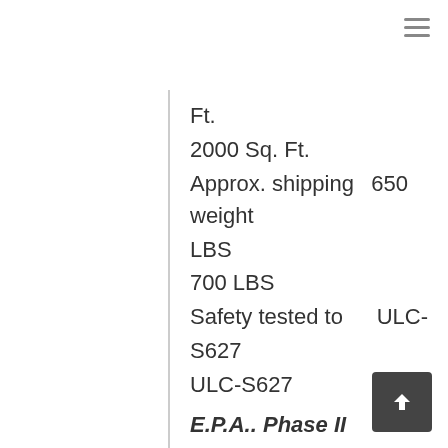Ft.
2000 Sq. Ft.
Approx. shipping weight                650 LBS
700 LBS
Safety tested to                                ULC-S627
ULC-S627
E.P.A.. Phase II Certified Cook stoves are exempt
Prices: Email or Call